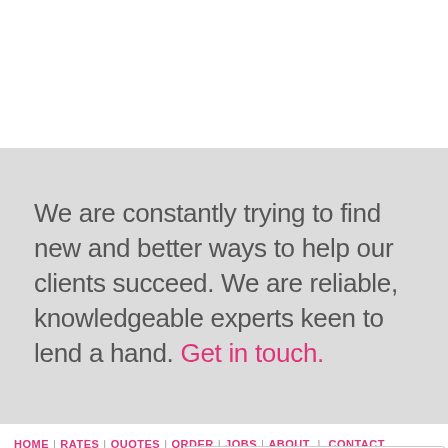We are constantly trying to find new and better ways to help our clients succeed. We are reliable, knowledgeable experts keen to lend a hand. Get in touch.
HOME | RATES | QUOTES | ORDER | JOBS | ABOUT | CONTACT
| ORDER TRANSCRIPT
[Figure (other): Live chat widget with text 'Leave a message' and a chat bubble icon]